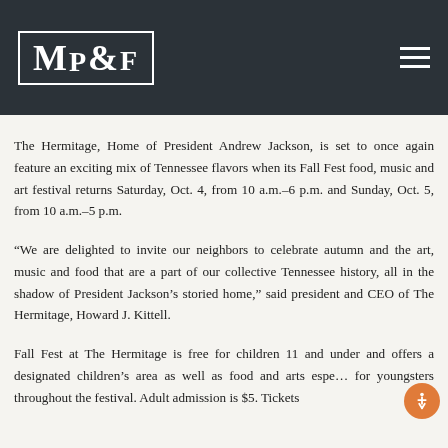MP&F
The Hermitage, Home of President Andrew Jackson, is set to once again feature an exciting mix of Tennessee flavors when its Fall Fest food, music and art festival returns Saturday, Oct. 4, from 10 a.m.–6 p.m. and Sunday, Oct. 5, from 10 a.m.–5 p.m.
“We are delighted to invite our neighbors to celebrate autumn and the art, music and food that are a part of our collective Tennessee history, all in the shadow of President Jackson’s storied home,” said president and CEO of The Hermitage, Howard J. Kittell.
Fall Fest at The Hermitage is free for children 11 and under and offers a designated children’s area as well as food and arts espe… for youngsters throughout the festival. Adult admission is $5. Tickets